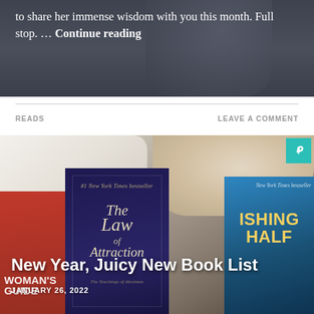[Figure (photo): Top portion of a blog post showing a person in dark clothing, with overlaid white text reading 'to share her immense wisdom with you this month. Full stop. … Continue reading']
to share her immense wisdom with you this month. Full stop. … Continue reading
READS
LEAVE A COMMENT
[Figure (photo): Photo of several books laid out — a red book (Woman's Guide), a dark purple book (The Law of Attraction), and a blue book (Vanishing Half) — on a fuzzy blanket and white fabric. Overlaid text reads 'New Year, Juicy New Book List' and 'JANUARY 26, 2022'. Teal pin icon in top-right corner.]
New Year, Juicy New Book List
JANUARY 26, 2022